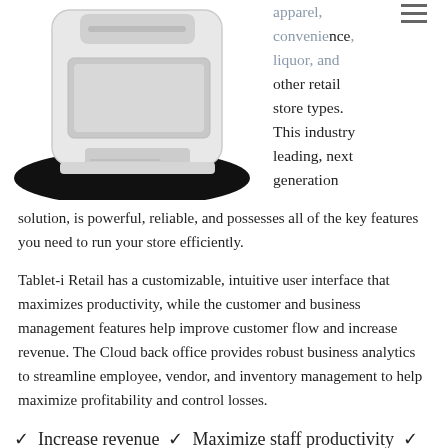[Figure (photo): A white POS terminal or card reader device photographed from above against a black oval shadow background, partially cropped at top.]
apparel, convenience, liquor, and other retail store types. This industry leading, next generation solution, is powerful, reliable, and possesses all of the key features you need to run your store efficiently.
Tablet-i Retail has a customizable, intuitive user interface that maximizes productivity, while the customer and business management features help improve customer flow and increase revenue. The Cloud back office provides robust business analytics to streamline employee, vendor, and inventory management to help maximize profitability and control losses.
✓  Increase revenue  ✓  Maximize staff productivity  ✓  Streamline customer flow  ✓  Enhance customer experience